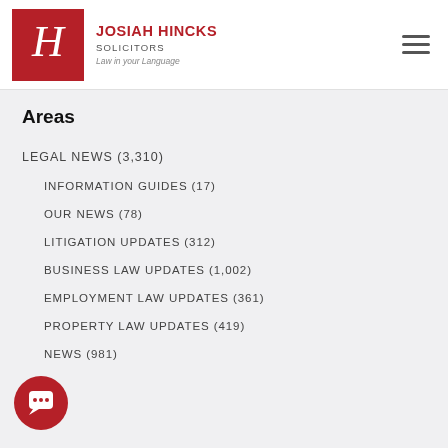[Figure (logo): Josiah Hincks Solicitors logo: red square with white H letterform, firm name, tagline 'Law in your Language']
Areas
LEGAL NEWS (3,310)
INFORMATION GUIDES (17)
OUR NEWS (78)
LITIGATION UPDATES (312)
BUSINESS LAW UPDATES (1,002)
EMPLOYMENT LAW UPDATES (361)
PROPERTY LAW UPDATES (419)
NEWS (981)